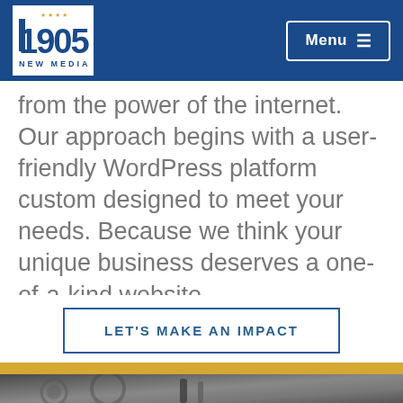1905 New Media — Navigation bar with logo and Menu button
from the power of the internet. Our approach begins with a user-friendly WordPress platform custom designed to meet your needs. Because we think your unique business deserves a one-of-a-kind website.
LET'S MAKE AN IMPACT
[Figure (photo): Black and white close-up photograph of mechanical gears and a pen/instrument, suggesting engineering or technical precision.]